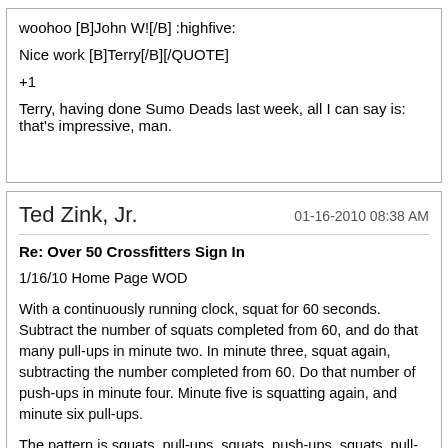woohoo [B]John W![/B] :highfive:

Nice work [B]Terry[/B][/QUOTE]

+1

Terry, having done Sumo Deads last week, all I can say is: that's impressive, man.
Ted Zink, Jr.
01-16-2010 08:38 AM
Re: Over 50 Crossfitters Sign In
1/16/10 Home Page WOD
With a continuously running clock, squat for 60 seconds. Subtract the number of squats completed from 60, and do that many pull-ups in minute two. In minute three, squat again, subtracting the number completed from 60. Do that number of push-ups in minute four. Minute five is squatting again, and minute six pull-ups.
The pattern is squats, pull-ups, squats, push-ups, squats, pull-ups, etc. The goal is to stay within the workout's formula for as long as possible.
Don't do more than 60 squats in any round.
In any case, stay moving for at least 12 minutes.